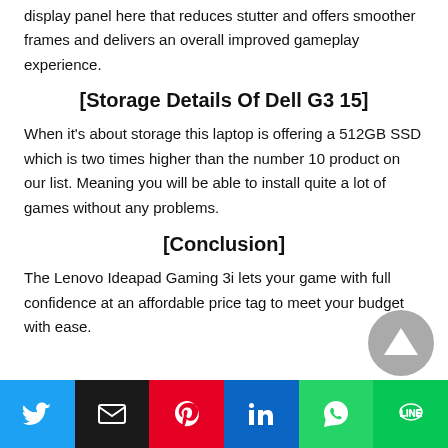display panel here that reduces stutter and offers smoother frames and delivers an overall improved gameplay experience.
[Storage Details Of Dell G3 15]
When it's about storage this laptop is offering a 512GB SSD which is two times higher than the number 10 product on our list. Meaning you will be able to install quite a lot of games without any problems.
[Conclusion]
The Lenovo Ideapad Gaming 3i lets your game with full confidence at an affordable price tag to meet your budget with ease.
[Figure (infographic): Social share buttons row: Twitter (blue), Email (black), Pinterest (red), LinkedIn (blue), WhatsApp (green), LINE (green)]